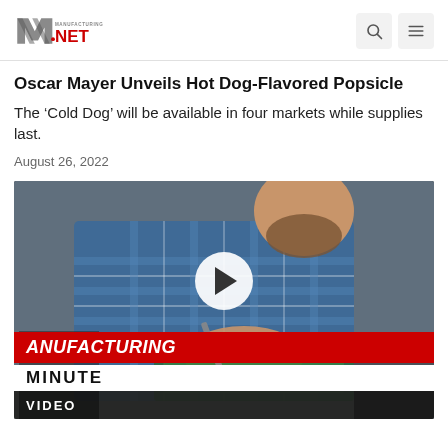Manufacturing.net logo with search and menu icons
Oscar Mayer Unveils Hot Dog-Flavored Popsicle
The ‘Cold Dog’ will be available in four markets while supplies last.
August 26, 2022
[Figure (photo): A bearded man in a blue plaid shirt working on an electronic circuit board at a workbench, with a play button overlay and a 'Manufacturing Minute' banner at the bottom, and a 'VIDEO' label bar at the very bottom.]